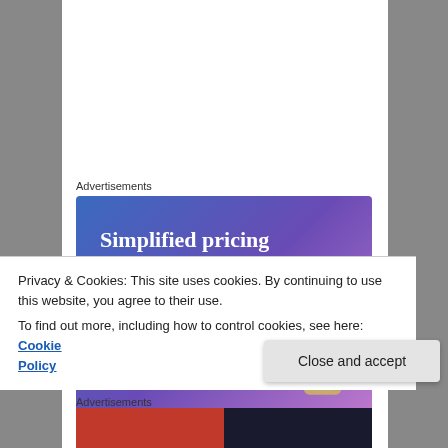Advertisements
[Figure (illustration): Advertisement banner with gradient blue-purple background reading 'Simplified pricing for everything you need.' with a pink 'Build Your Website' button and a decorative key image]
At the entrance to the park there is a square where kite enthusiasts gather. I hadn't planned to fly a kite that day, but when the opportunity presented itself I spontaneously
Privacy & Cookies: This site uses cookies. By continuing to use this website, you agree to their use.
To find out more, including how to control cookies, see here: Cookie Policy
Close and accept
Advertisements